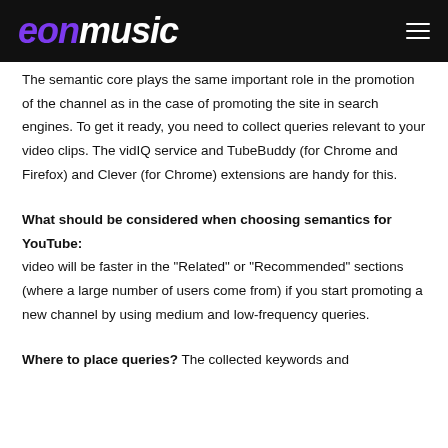eonmusic
The semantic core plays the same important role in the promotion of the channel as in the case of promoting the site in search engines. To get it ready, you need to collect queries relevant to your video clips. The vidIQ service and TubeBuddy (for Chrome and Firefox) and Clever (for Chrome) extensions are handy for this.
What should be considered when choosing semantics for YouTube:
video will be faster in the "Related" or "Recommended" sections (where a large number of users come from) if you start promoting a new channel by using medium and low-frequency queries.
Where to place queries? The collected keywords and